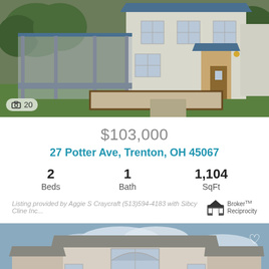[Figure (photo): Exterior photo of a two-story white clapboard house with blue metal roof, covered porch/carport on left, decorative gravel front yard with wood borders, green lawn, fence on right. Photo counter shows 20 images.]
$103,000
27 Potter Ave, Trenton, OH 45067
2 Beds   1 Bath   1,104 SqFt
Listing provided by Aggie S Craycraft (513)594-4183 with Sibcy Cline Inc...
[Figure (photo): Exterior photo of a two-story suburban house with brick and light siding, arched window above garage, partially visible driveway, cloudy blue sky background. Heart/favorite icon in upper right.]